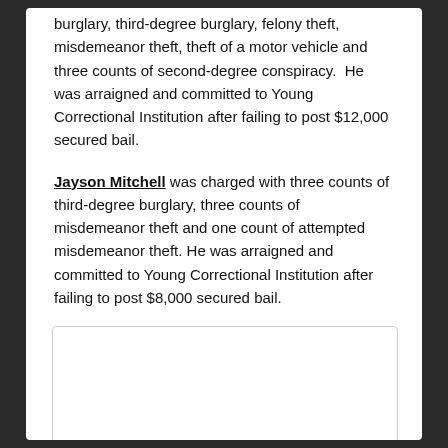burglary, third-degree burglary, felony theft, misdemeanor theft, theft of a motor vehicle and three counts of second-degree conspiracy.  He was arraigned and committed to Young Correctional Institution after failing to post $12,000 secured bail.
Jayson Mitchell was charged with three counts of third-degree burglary, three counts of misdemeanor theft and one count of attempted misdemeanor theft. He was arraigned and committed to Young Correctional Institution after failing to post $8,000 secured bail.
[Figure (other): Empty white box with light gray border, likely a placeholder for an image or advertisement.]